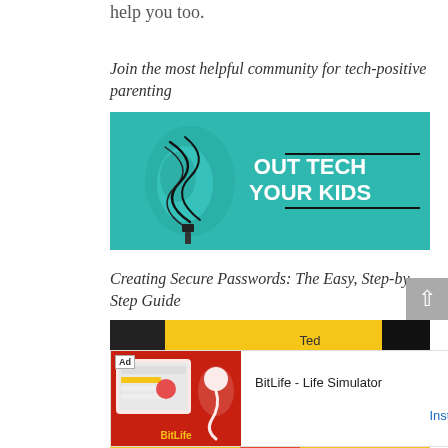help you too.
Join the most helpful community for tech-positive parenting
[Figure (illustration): Promotional banner with teal background showing a hand holding tangled cables on the left, and white bold text reading 'OUT TECH YOUR KIDS' on the right with horizontal lines above and below the text.]
Creating Secure Passwords: The Easy, Step-by-Step Guide
[Figure (screenshot): Screenshot of a mobile app showing a password entry screen with yellow background. Top portion shows 'Ted' label. Bottom portion shows 'password' text field.]
[Figure (other): Advertisement banner for BitLife - Life Simulator app. Red background with game screenshot on left, app name 'BitLife - Life Simulator' and 'Install!' button on right.]